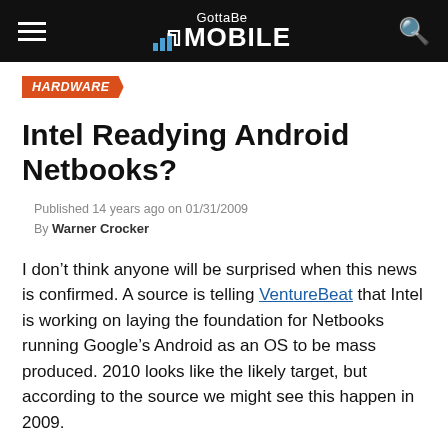GottaBe Mobile
HARDWARE
Intel Readying Android Netbooks?
Published 14 years ago on 01/31/2009
By Warner Crocker
I don’t think anyone will be surprised when this news is confirmed. A source is telling VentureBeat that Intel is working on laying the foundation for Netbooks running Google’s Android as an OS to be mass produced. 2010 looks like the likely target, but according to the source we might see this happen in 2009.
Again, I don’t think there is any surprise here.